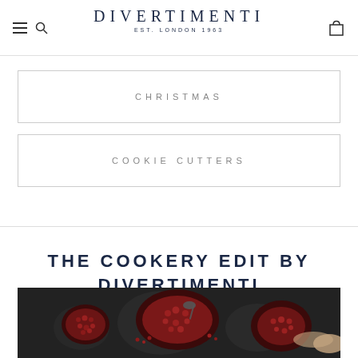DIVERTIMENTI EST. LONDON 1963
CHRISTMAS
COOKIE CUTTERS
THE COOKERY EDIT BY DIVERTIMENTI
[Figure (photo): Dark food photography showing pomegranates on a dark background with seeds scattered]